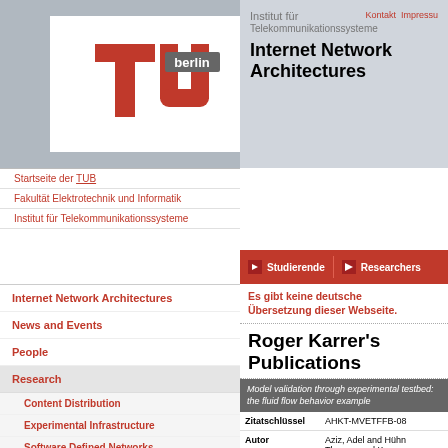[Figure (logo): TU Berlin red logo with 'berlin' text]
Institut für Telekommunikationssysteme  Internet Network Architectures  Kontakt  Impressu
Startseite der TUB
Fakultät Elektrotechnik und Informatik
Institut für Telekommunikationssysteme
Studierende  Researchers
Internet Network Architectures
News and Events
People
Research
Content Distribution
Experimental Infrastructure
Software Defined Networks
Multi Access Networks
CloudNets
Network Measurement
OSNs and P2P
Es gibt keine deutsche Übersetzung dieser Webseite.
Roger Karrer's Publications
|  | Model validation through experimental testbed: the fluid flow behavior example |
| --- | --- |
| Zitatschlüssel | AHKT-MVETFFB-08 |
| Autor | Aziz, Adel and Hühn Thomas and Karrer, Roger and Thiran, Patrick |
| Buchtitel | Proceedings of 4th |